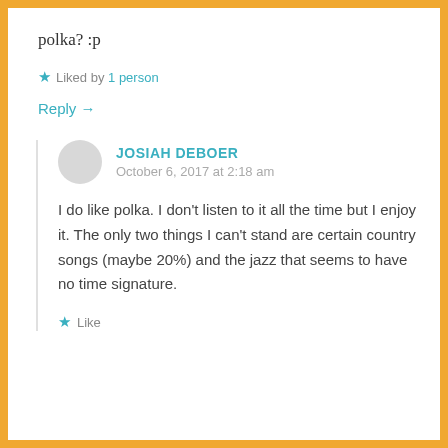polka? :p
Liked by 1 person
Reply →
JOSIAH DEBOER
October 6, 2017 at 2:18 am
I do like polka. I don't listen to it all the time but I enjoy it. The only two things I can't stand are certain country songs (maybe 20%) and the jazz that seems to have no time signature.
Like